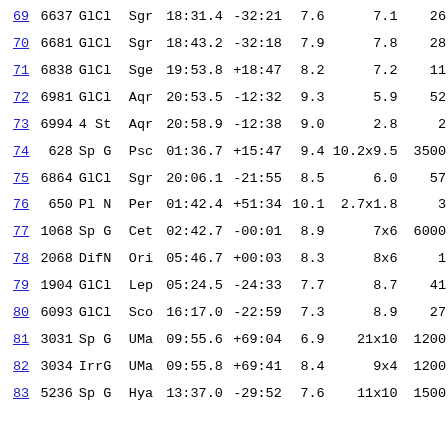| # | NGC | Type | Const | RA | Dec | Mag | Size | Dist |
| --- | --- | --- | --- | --- | --- | --- | --- | --- |
| 69 | 6637 | GlCl | Sgr | 18:31.4 | -32:21 | 7.6 | 7.1 | 26 |
| 70 | 6681 | GlCl | Sgr | 18:43.2 | -32:18 | 7.9 | 7.8 | 28 |
| 71 | 6838 | GlCl | Sge | 19:53.8 | +18:47 | 8.2 | 7.2 | 11 |
| 72 | 6981 | GlCl | Aqr | 20:53.5 | -12:32 | 9.3 | 5.9 | 52 |
| 73 | 6994 | 4 St | Aqr | 20:58.9 | -12:38 | 9.0 | 2.8 | 2 |
| 74 | 628 | Sp G | Psc | 01:36.7 | +15:47 | 9.4 | 10.2x9.5 | 3500 |
| 75 | 6864 | GlCl | Sgr | 20:06.1 | -21:55 | 8.5 | 6.0 | 57 |
| 76 | 650 | Pl N | Per | 01:42.4 | +51:34 | 10.1 | 2.7x1.8 | 3 |
| 77 | 1068 | Sp G | Cet | 02:42.7 | -00:01 | 8.9 | 7x6 | 6000 |
| 78 | 2068 | DifN | Ori | 05:46.7 | +00:03 | 8.3 | 8x6 | 1 |
| 79 | 1904 | GlCl | Lep | 05:24.5 | -24:33 | 7.7 | 8.7 | 41 |
| 80 | 6093 | GlCl | Sco | 16:17.0 | -22:59 | 7.3 | 8.9 | 27 |
| 81 | 3031 | Sp G | UMa | 09:55.6 | +69:04 | 6.9 | 21x10 | 1200 |
| 82 | 3034 | IrrG | UMa | 09:55.8 | +69:41 | 8.4 | 9x4 | 1200 |
| 83 | 5236 | Sp G | Hya | 13:37.0 | -29:52 | 7.6 | 11x10 | 1500 |